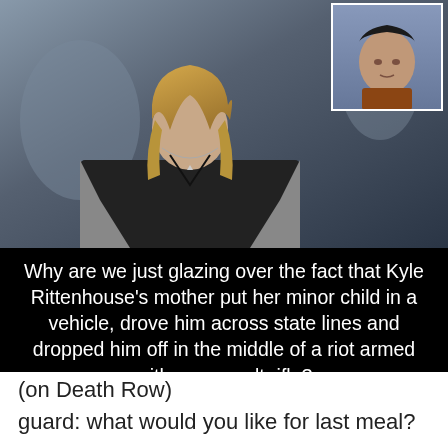[Figure (photo): Photo of a woman with long blonde hair wearing a black top and gray cardigan, with a smaller inset photo in the upper right corner showing a young person in a rust-colored shirt against a blue background (mugshot style).]
Why are we just glazing over the fact that Kyle Rittenhouse's mother put her minor child in a vehicle, drove him across state lines and dropped him off in the middle of a riot armed with an assault rifle? Why is she not behind bars?
(on Death Row)
guard: what would you like for last meal?